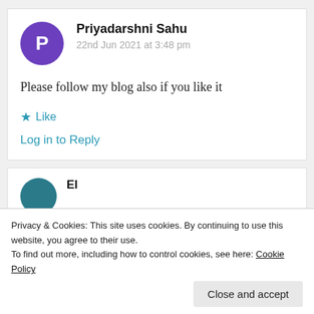Priyadarshni Sahu
22nd Jun 2021 at 3:48 pm
Please follow my blog also if you like it
★ Like
Log in to Reply
Privacy & Cookies: This site uses cookies. By continuing to use this website, you agree to their use.
To find out more, including how to control cookies, see here: Cookie Policy
Close and accept
You made me happy dear...! You deserve this